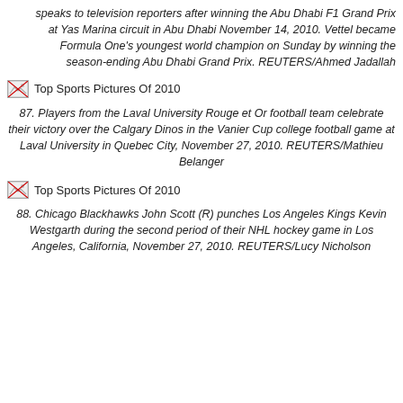speaks to television reporters after winning the Abu Dhabi F1 Grand Prix at Yas Marina circuit in Abu Dhabi November 14, 2010. Vettel became Formula One's youngest world champion on Sunday by winning the season-ending Abu Dhabi Grand Prix. REUTERS/Ahmed Jadallah
[Figure (photo): Broken image placeholder with alt text: Top Sports Pictures Of 2010]
87. Players from the Laval University Rouge et Or football team celebrate their victory over the Calgary Dinos in the Vanier Cup college football game at Laval University in Quebec City, November 27, 2010. REUTERS/Mathieu Belanger
[Figure (photo): Broken image placeholder with alt text: Top Sports Pictures Of 2010]
88. Chicago Blackhawks John Scott (R) punches Los Angeles Kings Kevin Westgarth during the second period of their NHL hockey game in Los Angeles, California, November 27, 2010. REUTERS/Lucy Nicholson